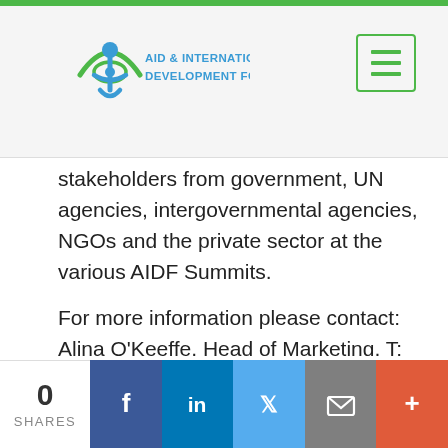AID & INTERNATIONAL DEVELOPMENT FORUM
stakeholders from government, UN agencies, intergovernmental agencies, NGOs and the private sector at the various AIDF Summits.
For more information please contact: Alina O'Keeffe, Head of Marketing, T: +44 (0)20 7871 0123,
E: marketing@aidforum.org Twitter: @FollowAID
For more information about the Global Disaster Relief & Development Summit 2018,